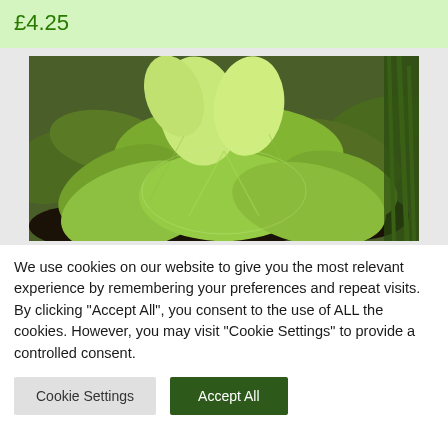£4.25
[Figure (photo): Close-up photograph of green hosta plants with large, ribbed, lime-green leaves emerging from the ground, with dark soil visible in the background.]
We use cookies on our website to give you the most relevant experience by remembering your preferences and repeat visits. By clicking "Accept All", you consent to the use of ALL the cookies. However, you may visit "Cookie Settings" to provide a controlled consent.
Cookie Settings
Accept All